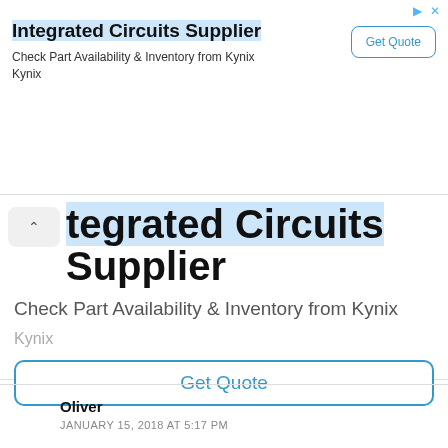[Figure (screenshot): Advertisement banner for Kynix Integrated Circuits Supplier with Get Quote button and close/info icons]
Integrated Circuits Supplier
Check Part Availability & Inventory from Kynix
Kynix
Get Quote
tegrated Circuits Supplier
Check Part Availability & Inventory from Kynix
Kynix
Get Quote
Oliver
JANUARY 15, 2018 AT 5:17 PM